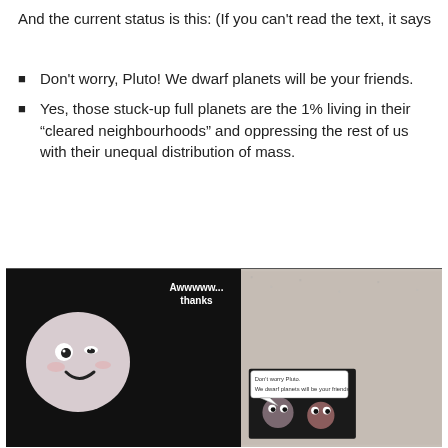And the current status is this: (If you can't read the text, it says
Don't worry, Pluto! We dwarf planets will be your friends.
Yes, those stuck-up full planets are the 1% living in their “cleared neighbourhoods” and oppressing the rest of us with their unequal distribution of mass.
[Figure (photo): Two-panel image: left panel shows a cartoon-style Pluto (round, smiling face on black background) with text 'Awwwww... thanks'; right panel shows a textured light background with a small dark sub-image at bottom showing cartoon dwarf planet characters with speech bubble 'Don't worry Pluto. We dwarf planets will be your friends'.]